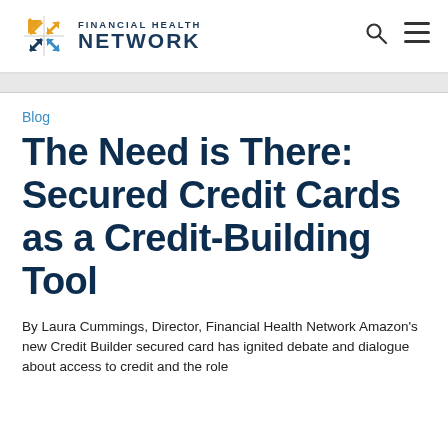Financial Health Network
Blog
The Need is There: Secured Credit Cards as a Credit-Building Tool
By Laura Cummings, Director, Financial Health Network Amazon's new Credit Builder secured card has ignited debate and dialogue about access to credit and the role